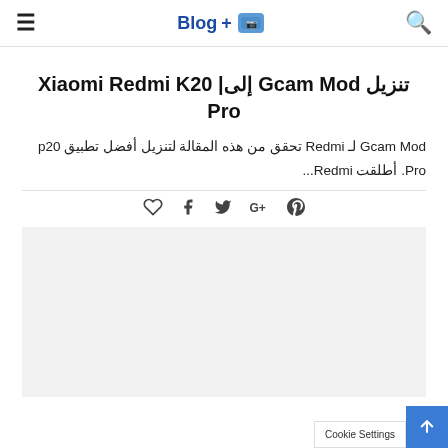Blog+ [logo] [search icon]
تنزيل Gcam Mod إلى| Xiaomi Redmi K20 Pro
Gcam Mod لـ Redmi تحقق من هذه المقالة لتنزيل أفضل تطبيق p20 Pro. أطلقت Redmi…
[Figure (other): Social sharing icons row: heart/like, facebook, twitter, google+, pinterest]